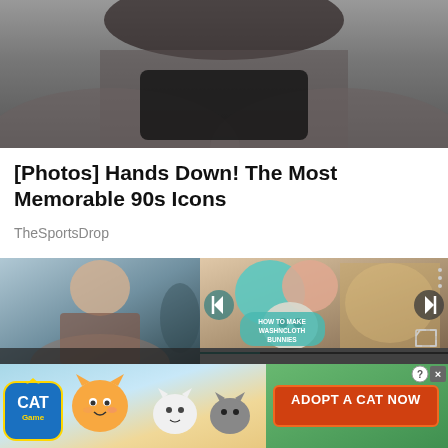[Figure (photo): Partial photo at top showing person with dark hair from behind, looking down at something, gray/dark tones]
[Photos] Hands Down! The Most Memorable 90s Icons
TheSportsDrop
[Figure (screenshot): Video player showing split view: left side shows woman with blonde hair smiling in a room with exercise equipment; right side shows a craft tutorial video 'HOW TO MAKE WASHNCLOTH BUNNIES' with a bunny made from washcloth, teal balloon, and other materials. Video player controls including previous, next, and fullscreen buttons visible.]
[Figure (photo): Advertisement banner for 'Cat Game' mobile app showing cartoon cats and text 'ADOPT A CAT NOW' with orange button]